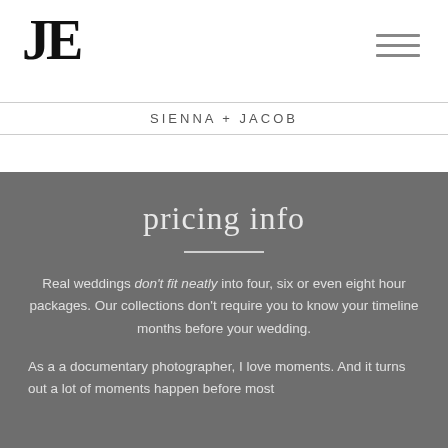[Figure (logo): JE monogram logo in large serif bold black font]
[Figure (other): Hamburger menu icon with three horizontal lines]
SIENNA + JACOB
pricing info
Real weddings don't fit neatly into four, six or even eight hour packages. Our collections don't require you to know your timeline months before your wedding.
As a a documentary photographer, I love moments. And it turns out a lot of moments happen before most